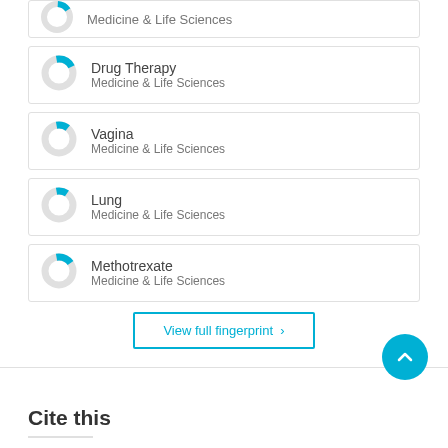[Figure (donut-chart): Partial donut chart icon for Medicine & Life Sciences item (top, cropped)]
[Figure (donut-chart): Small donut chart with cyan segment for Drug Therapy, Medicine & Life Sciences]
Drug Therapy
Medicine & Life Sciences
[Figure (donut-chart): Small donut chart with cyan segment for Vagina, Medicine & Life Sciences]
Vagina
Medicine & Life Sciences
[Figure (donut-chart): Small donut chart with cyan segment for Lung, Medicine & Life Sciences]
Lung
Medicine & Life Sciences
[Figure (donut-chart): Small donut chart with cyan segment for Methotrexate, Medicine & Life Sciences]
Methotrexate
Medicine & Life Sciences
View full fingerprint ›
Cite this